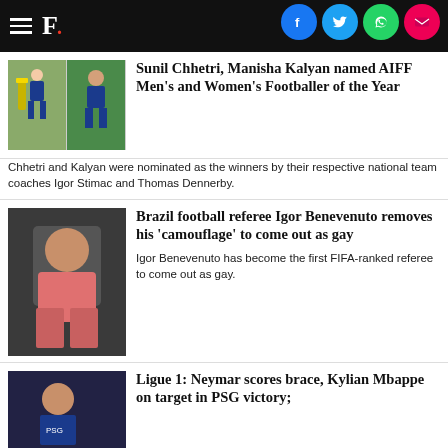F. [Firstpost logo with social share buttons: Facebook, Twitter, WhatsApp, Email]
[Figure (photo): Two sports images side by side: cricket batsman and Indian football player]
Sunil Chhetri, Manisha Kalyan named AIFF Men's and Women's Footballer of the Year
Chhetri and Kalyan were nominated as the winners by their respective national team coaches Igor Stimac and Thomas Dennerby.
[Figure (photo): Brazil football referee Igor Benevenuto seated portrait in pink shirt]
Brazil football referee Igor Benevenuto removes his 'camouflage' to come out as gay
Igor Benevenuto has become the first FIFA-ranked referee to come out as gay.
[Figure (photo): Neymar celebrating in PSG kit]
Ligue 1: Neymar scores brace, Kylian Mbappe on target in PSG victory;
[Figure (other): Moneycontrol PRO advertisement banner - FINANCIAL FREEDOM OFFER with SUBSCRIBE NOW button]